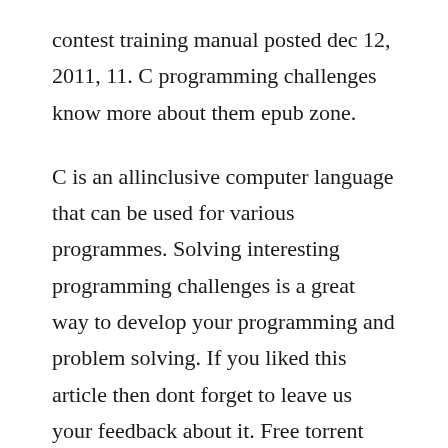contest training manual posted dec 12, 2011, 11. C programming challenges know more about them epub zone.
C is an allinclusive computer language that can be used for various programmes. Solving interesting programming challenges is a great way to develop your programming and problem solving. If you liked this article then dont forget to leave us your feedback about it. Free torrent download c programming for beginners pdf ebook. Read download programming challenges pdf pdf download. I